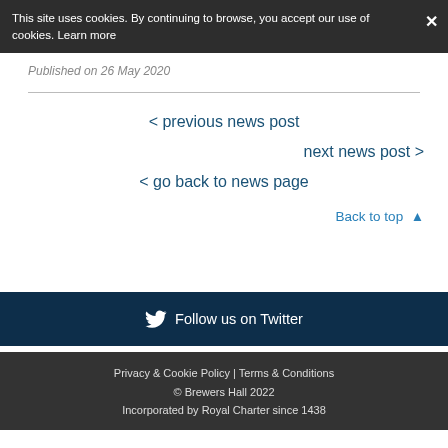This site uses cookies. By continuing to browse, you accept our use of cookies. Learn more
Published on 26 May 2020
< previous news post
next news post >
< go back to news page
Back to top ▲
Follow us on Twitter
Privacy & Cookie Policy | Terms & Conditions
© Brewers Hall 2022
Incorporated by Royal Charter since 1438